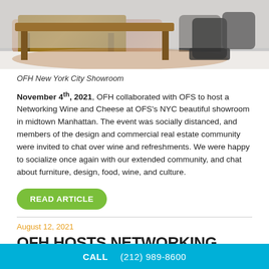[Figure (photo): Interior photo of OFH New York City Showroom showing a wooden desk, chairs, and area rug]
OFH New York City Showroom
November 4th, 2021, OFH collaborated with OFS to host a Networking Wine and Cheese at OFS's NYC beautiful showroom in midtown Manhattan. The event was socially distanced, and members of the design and commercial real estate community were invited to chat over wine and refreshments. We were happy to socialize once again with our extended community, and chat about furniture, design, food, wine, and culture.
READ ARTICLE
August 12, 2021
OFH HOSTS NETWORKING LUNCH AT
CALL    (212) 989-8600